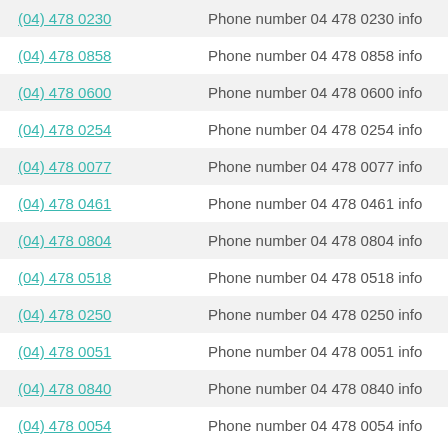(04) 478 0230 — Phone number 04 478 0230 info
(04) 478 0858 — Phone number 04 478 0858 info
(04) 478 0600 — Phone number 04 478 0600 info
(04) 478 0254 — Phone number 04 478 0254 info
(04) 478 0077 — Phone number 04 478 0077 info
(04) 478 0461 — Phone number 04 478 0461 info
(04) 478 0804 — Phone number 04 478 0804 info
(04) 478 0518 — Phone number 04 478 0518 info
(04) 478 0250 — Phone number 04 478 0250 info
(04) 478 0051 — Phone number 04 478 0051 info
(04) 478 0840 — Phone number 04 478 0840 info
(04) 478 0054 — Phone number 04 478 0054 info